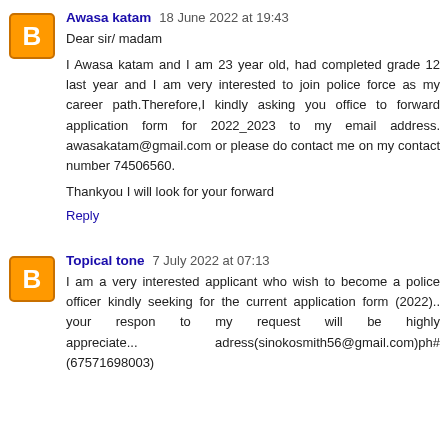Awasa katam  18 June 2022 at 19:43
Dear sir/ madam

I Awasa katam and I am 23 year old, had completed grade 12 last year and I am very interested to join police force as my career path.Therefore,I kindly asking you office to forward application form for 2022_2023 to my email address. awasakatam@gmail.com or please do contact me on my contact number 74506560.


Thankyou I will look for your forward
Reply
Topical tone  7 July 2022 at 07:13
I am a very interested applicant who wish to become a police officer kindly seeking for the current application form (2022).. your respon to my request will be highly appreciate...          adress(sinokosmith56@gmail.com)ph# (67571698003)